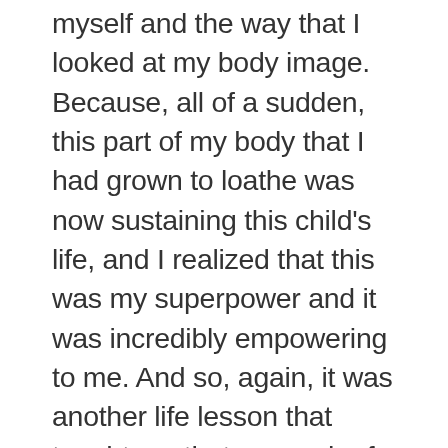myself and the way that I looked at my body image. Because, all of a sudden, this part of my body that I had grown to loathe was now sustaining this child's life, and I realized that this was my superpower and it was incredibly empowering to me. And so, again, it was another life lesson that taught me that so much of life is about a perspective shift. And I couldn't see that beauty for 15 years, but in that one moment, it shifted; it was there all along, I just needed to have a change in my perception about the situation. So, again, although my low point happened earlier and my tragedy happened later, I think one of the